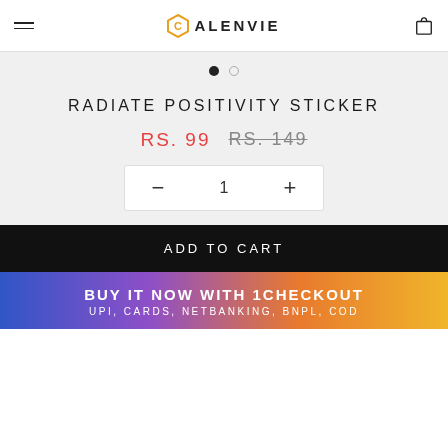CALENVIE
[Figure (other): Carousel slider dots: one filled black dot and one empty circle]
RADIATE POSITIVITY STICKER
RS. 99  RS. 149
− 1 +
ADD TO CART
BUY IT NOW WITH 1CHECKOUT
UPI, CARDS, NETBANKING, BNPL, COD